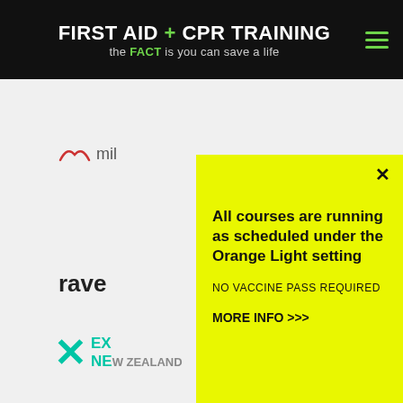FIRST AID + CPR TRAINING — the FACT is you can save a life
[Figure (screenshot): Partial background page content showing a heart icon, partial text 'mil', partial text 'rave', and partial cyan X logo for Explore New Zealand]
All courses are running as scheduled under the Orange Light setting
NO VACCINE PASS REQUIRED
MORE INFO >>>